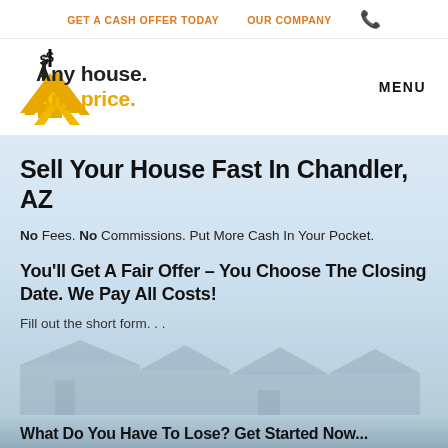GET A CASH OFFER TODAY   OUR COMPANY
[Figure (logo): Yellow chevron/house logo with dollar sign. Text: Any house. Any price.]
Sell Your House Fast In Chandler, AZ
No Fees. No Commissions. Put More Cash In Your Pocket.
You'll Get A Fair Offer – You Choose The Closing Date. We Pay All Costs!
Fill out the short form...
What Do You Have To Lose? Get Started Now...